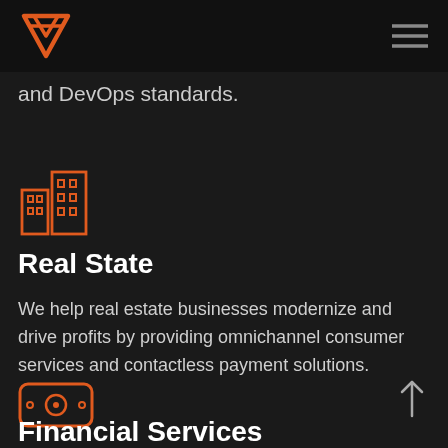and DevOps standards.
[Figure (illustration): Orange outline icon of a city building / real estate]
Real State
We help real estate businesses modernize and drive profits by providing omnichannel consumer services and contactless payment solutions.
[Figure (illustration): Orange outline icon of a banknote / money with a circle in the center]
Financial Services